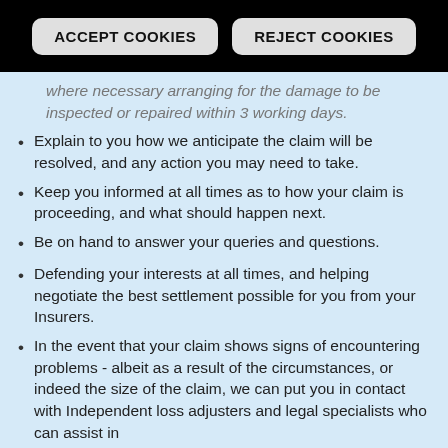ACCEPT COOKIES   REJECT COOKIES
where necessary arranging for the damage to be inspected or repaired within 3 working days.
Explain to you how we anticipate the claim will be resolved, and any action you may need to take.
Keep you informed at all times as to how your claim is proceeding, and what should happen next.
Be on hand to answer your queries and questions.
Defending your interests at all times, and helping negotiate the best settlement possible for you from your Insurers.
In the event that your claim shows signs of encountering problems - albeit as a result of the circumstances, or indeed the size of the claim, we can put you in contact with Independent loss adjusters and legal specialists who can assist in